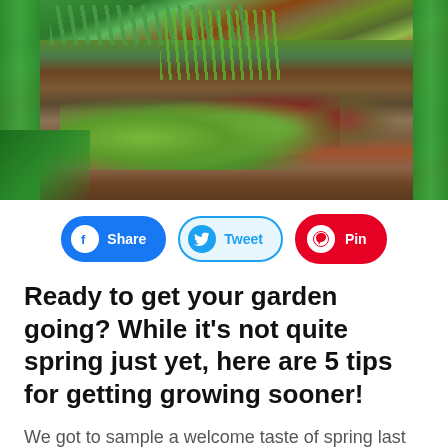[Figure (photo): Overhead view of a raised garden bed with green wooden frame, containing rows of lettuce seedlings, onion grass, and dark soil]
Share  Tweet  Pin
Ready to get your garden going? While it’s not quite spring just yet, here are 5 tips for getting growing sooner!
We got to sample a welcome taste of spring last weekend, but winter has not released his